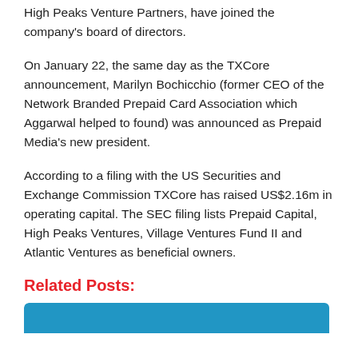High Peaks Venture Partners, have joined the company's board of directors.
On January 22, the same day as the TXCore announcement, Marilyn Bochicchio (former CEO of the Network Branded Prepaid Card Association which Aggarwal helped to found) was announced as Prepaid Media's new president.
According to a filing with the US Securities and Exchange Commission TXCore has raised US$2.16m in operating capital. The SEC filing lists Prepaid Capital, High Peaks Ventures, Village Ventures Fund II and Atlantic Ventures as beneficial owners.
Related Posts:
[Figure (other): Blue banner/bar at bottom of page, partial view of a related post card]